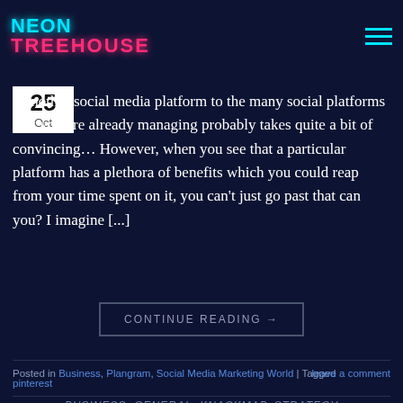NEON TREEHOUSE
g another social media platform to the many social platforms that you are already managing probably takes quite a bit of convincing… However, when you see that a particular platform has a plethora of benefits which you could reap from your time spent on it, you can't just go past that can you? I imagine [...]
CONTINUE READING →
Posted in Business, Plangram, Social Media Marketing World | Tagged pinterest  leave a comment
BUSINESS, GENERAL, KNACKMAP, STRATEGY